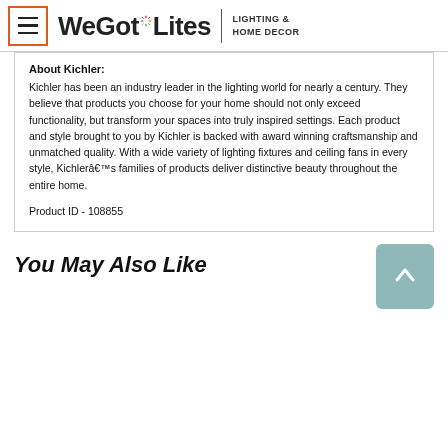WeGotLites LIGHTING & HOME DECOR
About Kichler:
Kichler has been an industry leader in the lighting world for nearly a century. They believe that products you choose for your home should not only exceed functionality, but transform your spaces into truly inspired settings. Each product and style brought to you by Kichler is backed with award winning craftsmanship and unmatched quality. With a wide variety of lighting fixtures and ceiling fans in every style, Kichlerâ€™s families of products deliver distinctive beauty throughout the entire home.
Product ID - 108855
You May Also Like